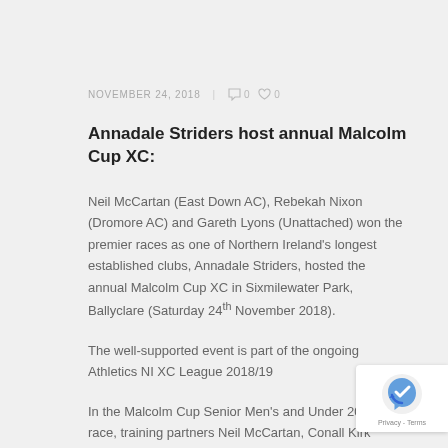NOVEMBER 24, 2018  |  0  0
Annadale Striders host annual Malcolm Cup XC:
Neil McCartan (East Down AC), Rebekah Nixon (Dromore AC) and Gareth Lyons (Unattached) won the premier races as one of Northern Ireland's longest established clubs, Annadale Striders, hosted the annual Malcolm Cup XC in Sixmilewater Park, Ballyclare (Saturday 24th November 2018).
The well-supported event is part of the ongoing Athletics NI XC League 2018/19
In the Malcolm Cup Senior Men's and Under 20 4 mile race, training partners Neil McCartan, Conall Kirk (Annadale Striders) and Jonny Whan (City of